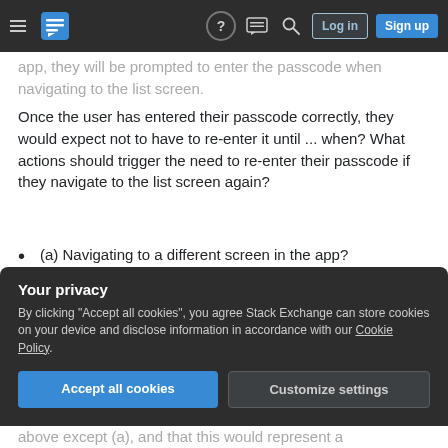Stack Exchange navigation bar with hamburger menu, logo, help, chat, search icons, Log in and Sign up buttons
app, they will be prompted to enter the passcode when navigating to the list screen.
Once the user has entered their passcode correctly, they would expect not to have to re-enter it until ... when? What actions should trigger the need to re-enter their passcode if they navigate to the list screen again?
(a) Navigating to a different screen in the app?
(b) Switching to a different app?
above except (a), and that this would represent a
Your privacy
By clicking "Accept all cookies", you agree Stack Exchange can store cookies on your device and disclose information in accordance with our Cookie Policy.
Accept all cookies
Customize settings